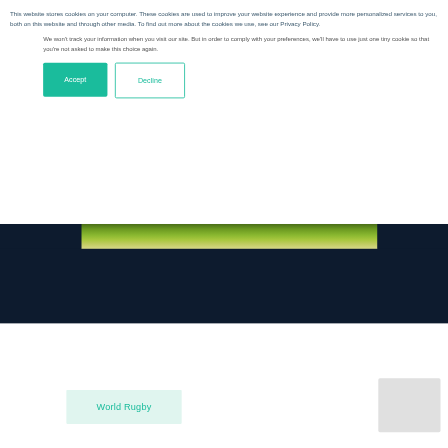This website stores cookies on your computer. These cookies are used to improve your website experience and provide more personalized services to you, both on this website and through other media. To find out more about the cookies we use, see our Privacy Policy.
We won't track your information when you visit our site. But in order to comply with your preferences, we'll have to use just one tiny cookie so that you're not asked to make this choice again.
Accept
Decline
[Figure (photo): Rugby field aerial or ground-level view showing green grass, partially covered by a dark navy overlay background. Below is a white section with a teal 'World Rugby' label tag and a grey box on the right.]
World Rugby